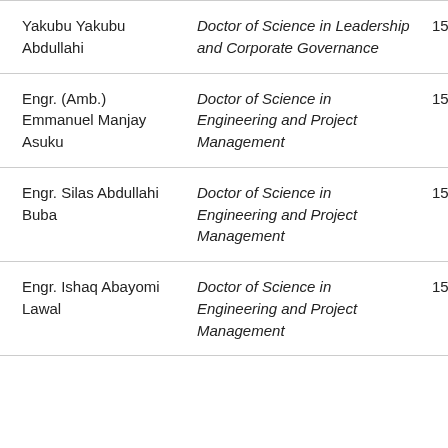| Name | Degree | Date |
| --- | --- | --- |
| Yakubu Yakubu Abdullahi | Doctor of Science in Leadership and Corporate Governance | 15/10/… |
| Engr. (Amb.) Emmanuel Manjay Asuku | Doctor of Science in Engineering and Project Management | 15/10/… |
| Engr. Silas Abdullahi Buba | Doctor of Science in Engineering and Project Management | 15/10/… |
| Engr. Ishaq Abayomi Lawal | Doctor of Science in Engineering and Project Management | 15/10/… |